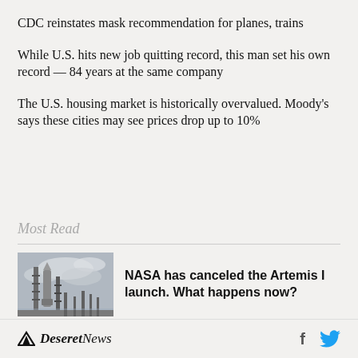CDC reinstates mask recommendation for planes, trains
While U.S. hits new job quitting record, this man set his own record — 84 years at the same company
The U.S. housing market is historically overvalued. Moody's says these cities may see prices drop up to 10%
Most Read
[Figure (photo): Photo of a rocket launch pad with towers against a cloudy sky]
NASA has canceled the Artemis I launch. What happens now?
Deseret News — social icons for Facebook and Twitter